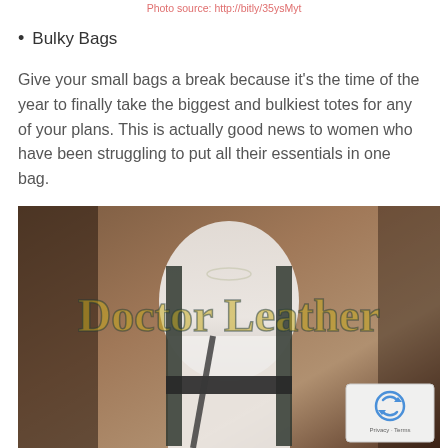Photo source: http://bitly/35ysMyt
Bulky Bags
Give your small bags a break because it's the time of the year to finally take the biggest and bulkiest totes for any of your plans. This is actually good news to women who have been struggling to put all their essentials in one bag.
[Figure (photo): Woman wearing white ribbed top with a dark bag, with 'Doctor Leather' watermark overlay and reCAPTCHA badge in bottom-right corner]